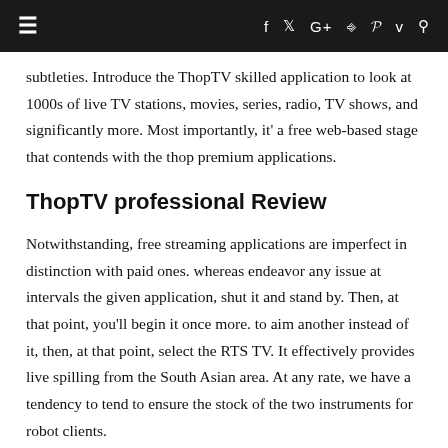≡   f  t  G+  ◻  p  v  ◻
subtleties. Introduce the ThopTV skilled application to look at 1000s of live TV stations, movies, series, radio, TV shows, and significantly more. Most importantly, it' a free web-based stage that contends with the thop premium applications.
ThopTV professional Review
Notwithstanding, free streaming applications are imperfect in distinction with paid ones. whereas endeavor any issue at intervals the given application, shut it and stand by. Then, at that point, you'll begin it once more. to aim another instead of it, then, at that point, select the RTS TV. It effectively provides live spilling from the South Asian area. At any rate, we have a tendency to tend to ensure the stock of the two instruments for robot clients.